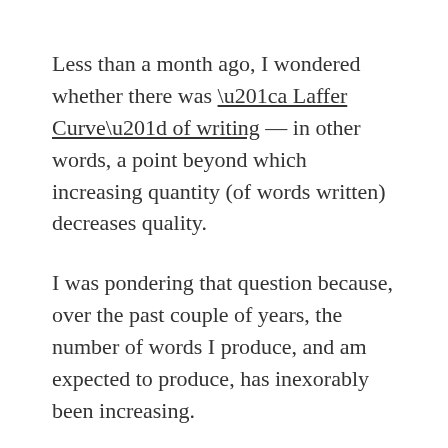Less than a month ago, I wondered whether there was “a Laffer Curve” of writing — in other words, a point beyond which increasing quantity (of words written) decreases quality.

I was pondering that question because, over the past couple of years, the number of words I produce, and am expected to produce, has inexorably been increasing.

When I started at The Economist in 1997, we were expected to write articles for